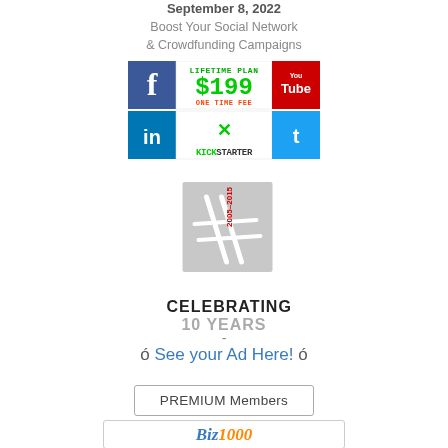September 8, 2022
Boost Your Social Network & Crowdfunding Campaigns
[Figure (infographic): Social media ad banner showing Facebook, YouTube, LinkedIn, Twitter icons with 'LIFETIME PLAN $199 ONE TIME FEE' and Kickstarter logo]
[Figure (logo): 10 year anniversary logo with hash symbol graphic, text CELEBRATING 10 YEARS, date range 2005-2015]
-
ó See your Ad Here! ó
PREMIUM Members
[Figure (logo): Bizness or Biz1000 logo in blue and orange italic text]